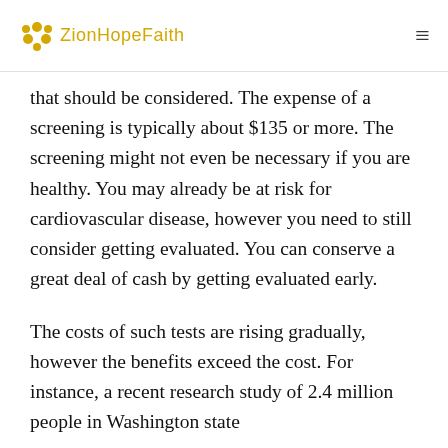ZionHopeFaith
that should be considered. The expense of a screening is typically about $135 or more. The screening might not even be necessary if you are healthy. You may already be at risk for cardiovascular disease, however you need to still consider getting evaluated. You can conserve a great deal of cash by getting evaluated early.
The costs of such tests are rising gradually, however the benefits exceed the cost. For instance, a recent research study of 2.4 million people in Washington state